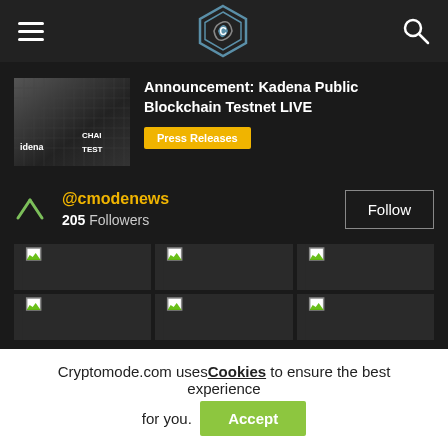Cryptomode news site header with hamburger menu, logo, and search icon
Announcement: Kadena Public Blockchain Testnet LIVE
Press Releases
@cmodenews
205 Followers
POPULAR CATEGORY
Cryptomode.com uses Cookies to ensure the best experience for you. Accept